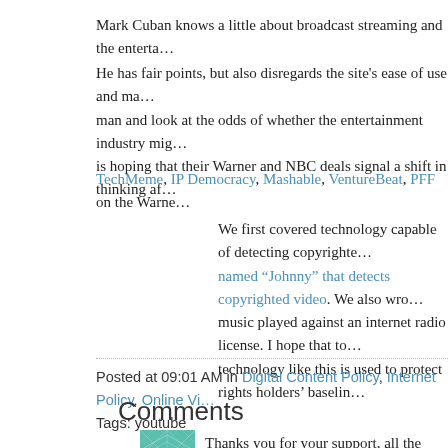Mark Cuban knows a little about broadcast streaming and the enterta…
He has fair points, but also disregards the site's ease of use and ma… man and look at the odds of whether the entertainment industry mig… is hoping that their Warner and NBC deals signal a shift in thinking af…
TechMeme, IP Democracy, Mashable, VentureBeat, PFF on the Warne…
We first covered technology capable of detecting copyrighte… named "Johnny" that detects copyrighted video. We also wro… music played against an internet radio license. I hope that to… technology like this is used to protect rights holders' baselin…
Posted at 09:01 AM in Digital Content Policy, Internet Policy, Online Vi… Tags: youtube
Comments
Thanks you for your support, all the information is just wh…